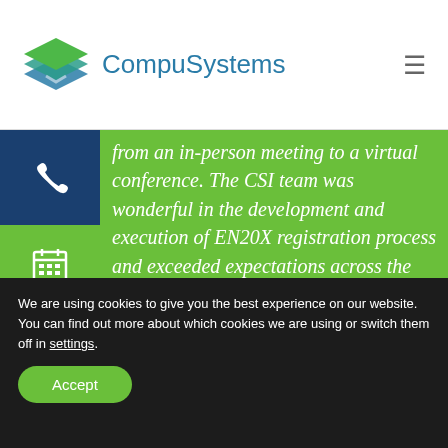CompuSystems
from an in-person meeting to a virtual conference. The CSI team was wonderful in the development and execution of EN20X registration process and exceeded expectations across the board. We are appreciative of all the ha...CSI provided...
We are using cookies to give you the best experience on our website.
You can find out more about which cookies we are using or switch them off in settings.